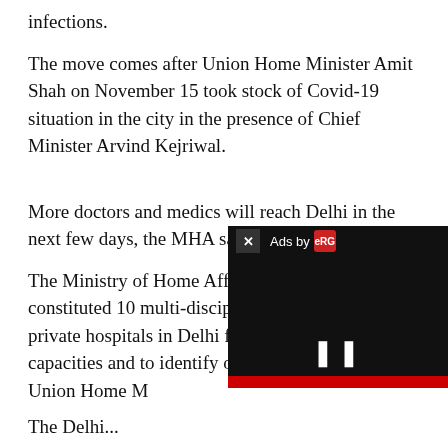infections.
The move comes after Union Home Minister Amit Shah on November 15 took stock of Covid-19 situation in the city in the presence of Chief Minister Arvind Kejriwal.
More doctors and medics will reach Delhi in the next few days, the MHA said.
The Ministry of Home Affairs (MHA) has constituted 10 multi-disciplinary teams to visit private hospitals in Delhi for assessing and testing capacities and to identify on the directions of Union Home M
The Delhi... [truncated by ad overlay]